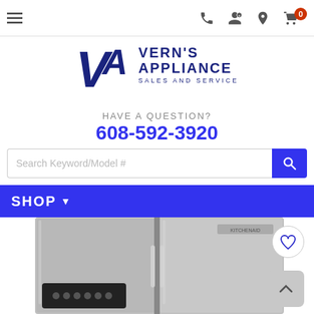Navigation bar with hamburger menu, phone, account, location, and cart icons
[Figure (logo): VA logo with Vern's Appliance Sales and Service text in dark blue]
HAVE A QUESTION?
608-592-3920
Search Keyword/Model #
SHOP
[Figure (photo): Stainless steel side-by-side refrigerator (KitchenAid brand), partially visible, with a touchscreen display on the bottom left door panel]